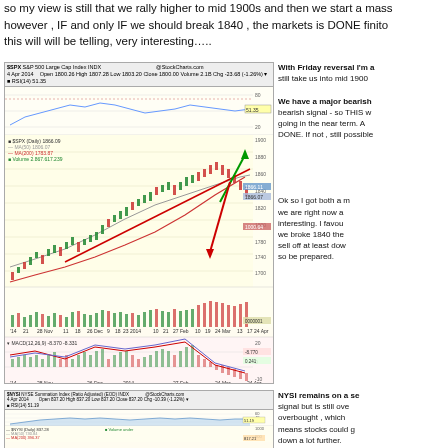so my view is still that we rally higher to mid 1900s and then we start a mass however , IF and only IF we should break 1840 , the markets is DONE finito this will will be telling, very interesting…..
[Figure (continuous-plot): SPX S&P 500 Large Cap Index daily candlestick chart from Oct 2013 to Apr 2014, with RSI(14) panel on top, MACD(12,26,9) panel on bottom, MA(50) and MA(200) overlays, with a red arrow showing a drop scenario from ~1900 down to ~1700 and a green arrow pointing up toward mid 1900s.]
With Friday reversal I'm a still take us into mid 1900
We have a major bearish bearish signal - so THIS w going in the near term. A DONE. If not , still possible
Ok so I got both a m we are right now a interesting. I favou we broke 1840 the sell off at least dow so be prepared.
[Figure (continuous-plot): NYSI NYSE Summation Index (Ratio Adjusted) daily chart from Oct 2013 to Apr 2014 with RSI(14) panel, MA(50) and MA(200) overlays.]
NYSI remains on a se signal but is still ove overbought , which means stocks could g down a lot further. However if NYSY ho MA50 at 730 it could bounce some and t